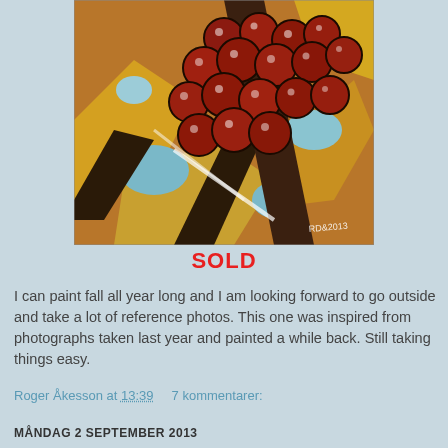[Figure (illustration): A colorful expressionist painting of red berries/crabapples on branches with yellow, blue, and brown background. Signed 'RD 2013' in bottom right corner.]
SOLD
I can paint fall all year long and I am looking forward to go outside and take a lot of reference photos. This one was inspired from photographs taken last year and painted a while back. Still taking things easy.
Roger Åkesson at 13:39    7 kommentarer:
MÅNDAG 2 SEPTEMBER 2013